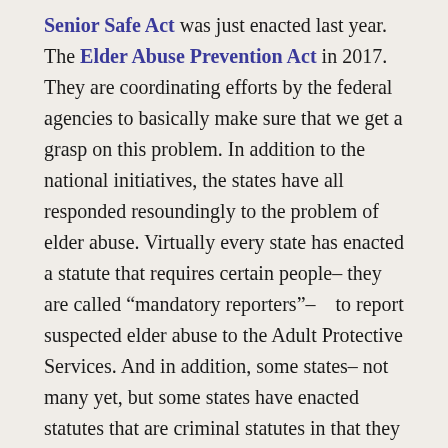Senior Safe Act was just enacted last year. The Elder Abuse Prevention Act in 2017. They are coordinating efforts by the federal agencies to basically make sure that we get a grasp on this problem. In addition to the national initiatives, the states have all responded resoundingly to the problem of elder abuse. Virtually every state has enacted a statute that requires certain people– they are called “mandatory reporters”–  to report suspected elder abuse to the Adult Protective Services. And in addition, some states– not many yet, but some states have enacted statutes that are criminal statutes in that they perhaps criminalize something that’s not really criminal, such as undue influence. But it’s criminalized if it’s inflicted upon an elder individual. Others of these criminal statutes